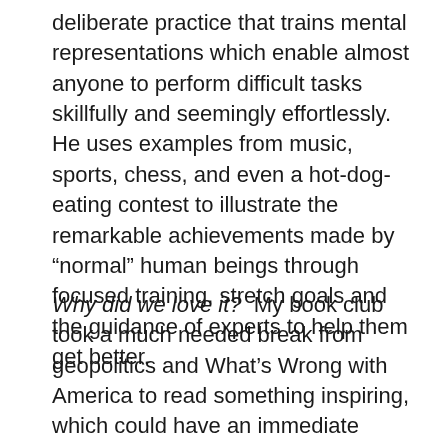deliberate practice that trains mental representations which enable almost anyone to perform difficult tasks skillfully and seemingly effortlessly. He uses examples from music, sports, chess, and even a hot-dog-eating contest to illustrate the remarkable achievements made by “normal” human beings through focused training, stretch goals and the guidance of experts to help them get better.
Why did we love it?  My book club took a much needed break from geopolitics and What’s Wrong with America to read something inspiring, which could have an immediate impact. We decided on this self-help book, and many of us were filled with optimism about the potential of these ideas to help us become better parents, teachers, managers